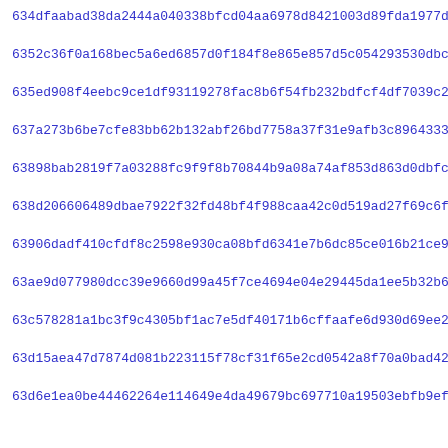634dfaabad38da2444a040338bfcd04aa6978d8421003d89fda1977d1e1e0
6352c36f0a168bec5a6ed6857d0f184f8e865e857d5c054293530dbcb36b4
635ed908f4eebc9ce1df93119278fac8b6f54fb232bdfcf4df7039c245d00
637a273b6be7cfe83bb62b132abf26bd7758a37f31e9afb3c89643332e830
63898bab2819f7a03288fc9f9f8b70844b9a08a74af853d863d0dbfc58c6a
638d206606489dbae7922f32fd48bf4f988caa42c0d519ad27f69c6f9d979
63906dadf410cfdf8c2598e930ca08bfd6341e7b6dc85ce016b21ce91ea8d
63ae9d077980dcc39e9660d99a45f7ce4694e04e29445da1ee5b32b6d711f
63c578281a1bc3f9c4305bf1ac7e5df40171b6cffaafe6d930d69ee23a1f6
63d15aea47d7874d081b223115f78cf31f65e2cd0542a8f70a0bad42c83c4
63d6e1ea0be44462264e114649e4da49679bc697710a19503ebfb9ef6a610